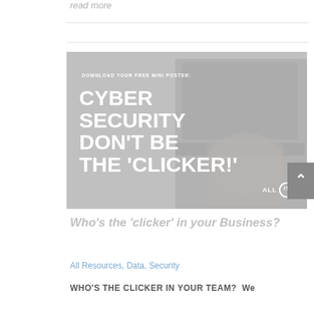read more
[Figure (illustration): Promotional banner for a cybersecurity mini poster download. Gray background with laptop image on the right. White bold text reads: 'DOWNLOAD YOUR FREE MINI POSTER: CYBER SECURITY DON'T BE THE CLICKER!' with ALL IT logo in bottom right corner.]
Who's the 'clicker' in your Business?
All Resources, Data, Security
WHO'S THE CLICKER IN YOUR TEAM? We